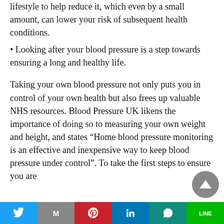lifestyle to help reduce it, which even by a small amount, can lower your risk of subsequent health conditions.
• Looking after your blood pressure is a step towards ensuring a long and healthy life.
Taking your own blood pressure not only puts you in control of your own health but also frees up valuable NHS resources. Blood Pressure UK likens the importance of doing so to measuring your own weight and height, and states “Home blood pressure monitoring is an effective and inexpensive way to keep blood pressure under control”. To take the first steps to ensure you are